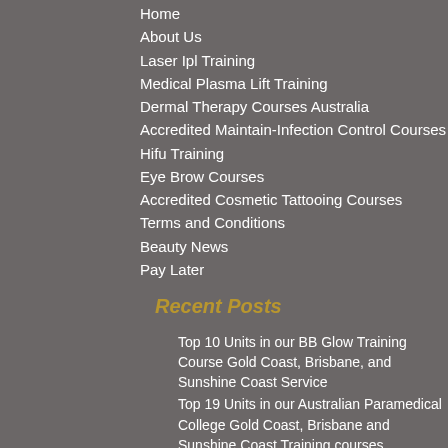Home
About Us
Laser Ipl Training
Medical Plasma Lift Training
Dermal Therapy Courses Australia
Accredited Maintain-Infection Control Courses
Hifu Training
Eye Brow Courses
Accredited Cosmetic Tattooing Courses
Terms and Conditions
Beauty News
Pay Later
Recent Posts
Top 10 Units in our BB Glow Training Course Gold Coast, Brisbane, and Sunshine Coast Service
Top 19 Units in our Australian Paramedical College Gold Coast, Brisbane and Sunshine Coast Training courses
Our Top Teeth Whitening Course is The Perfect Solution
The Best Lash Extensions Instructor
The Best 8 Eyelash Extension Course Units?
Are you looking for a new Skin therapy course?